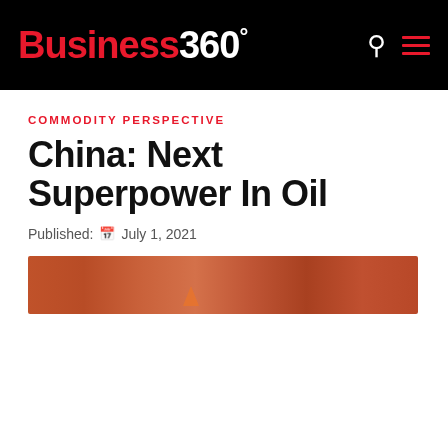Business 360°
COMMODITY PERSPECTIVE
China: Next Superpower In Oil
Published: July 1, 2021
[Figure (photo): Hero image with reddish-brown gradient background, partially visible flame or light element]